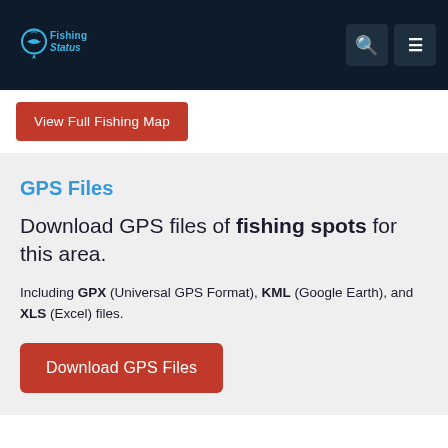Fishing Status
View Full Fishing Map
GPS Files
Download GPS files of fishing spots for this area.
Including GPX (Universal GPS Format), KML (Google Earth), and XLS (Excel) files.
Download GPS Files